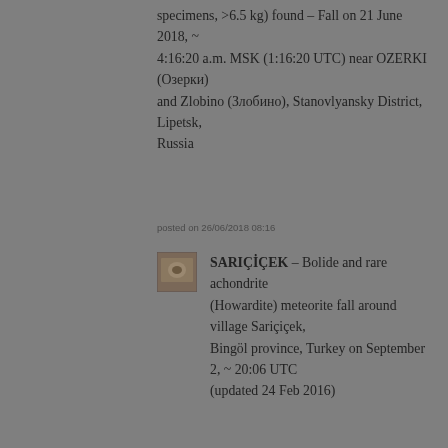specimens, >6.5 kg) found – Fall on 21 June 2018, ~ 4:16:20 a.m. MSK (1:16:20 UTC) near OZERKI (Озерки) and Zlobino (Злобино), Stanovlyansky District, Lipetsk, Russia
posted on 26/06/2018 08:16
[Figure (photo): Small thumbnail image of a meteorite specimen, brownish tones]
SARIÇİÇEK – Bolide and rare achondrite (Howardite) meteorite fall around village Sariçiçek, Bingöl province, Turkey on September 2, ~ 20:06 UTC (updated 24 Feb 2016)
posted on 08/09/2015 14:41
[Figure (photo): Small thumbnail image of a meteorite specimen]
STUBENBERG – Fall (LL6) in Bavaria, Germany on 6 March 2016 at 9:36:51-56 p.m. UTC
posted on 17/03/2016 13:19
CATEGORIES